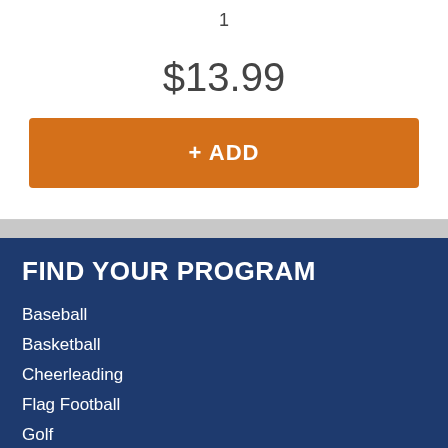1
$13.99
+ ADD
FIND YOUR PROGRAM
Baseball
Basketball
Cheerleading
Flag Football
Golf